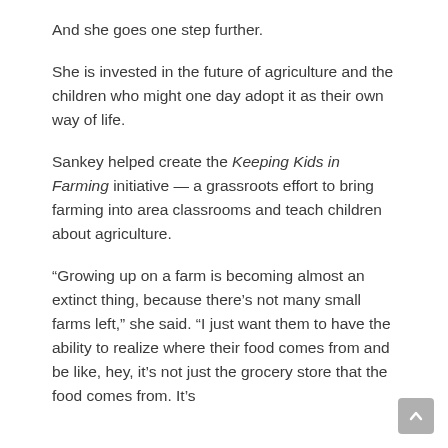And she goes one step further.
She is invested in the future of agriculture and the children who might one day adopt it as their own way of life.
Sankey helped create the Keeping Kids in Farming initiative — a grassroots effort to bring farming into area classrooms and teach children about agriculture.
“Growing up on a farm is becoming almost an extinct thing, because there’s not many small farms left,” she said. “I just want them to have the ability to realize where their food comes from and be like, hey, it’s not just the grocery store that the food comes from. It’s